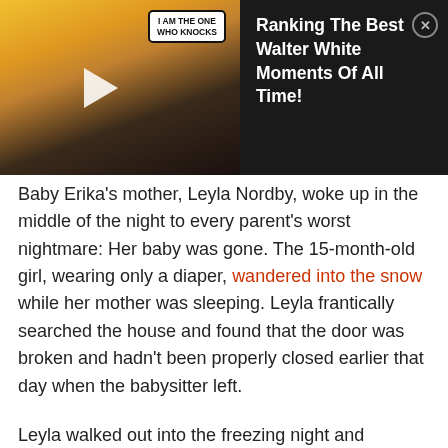[Figure (screenshot): Video overlay thumbnail showing two people (a woman on left, a man on right) with speech bubble text 'I AM THE ONE WHO KNOCKS' and a play button in the center. Dark background on the right side.]
Ranking The Best Walter White Moments Of All Time!
Baby Erika's mother, Leyla Nordby, woke up in the middle of the night to every parent's worst nightmare: Her baby was gone. The 15-month-old girl, wearing only a diaper, wandered into the snow while her mother was sleeping. Leyla frantically searched the house and found that the door was broken and hadn't been properly closed earlier that day when the babysitter left.
Leyla walked out into the freezing night and discovered tiny footprints in the snow. She followed them and found her daughter, lifeless in a snow bank in the dead of Canadian winter. The temperature that night was –24 degrees Celsius (–11 °F). She immediately rushed the baby inside, called for help, and attempted CPR. When police